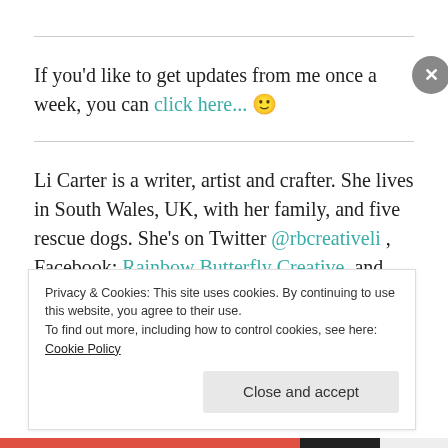If you'd like to get updates from me once a week, you can click here... 🙂
Li Carter is a writer, artist and crafter. She lives in South Wales, UK, with her family, and five rescue dogs. She's on Twitter @rbcreativeli , Facebook: Rainbow Butterfly Creative, and Instagram @rainbowbutterflycreative and is the author of My Only True Friend: The Beginning. She is currently working on a new series titled The
Privacy & Cookies: This site uses cookies. By continuing to use this website, you agree to their use.
To find out more, including how to control cookies, see here: Cookie Policy